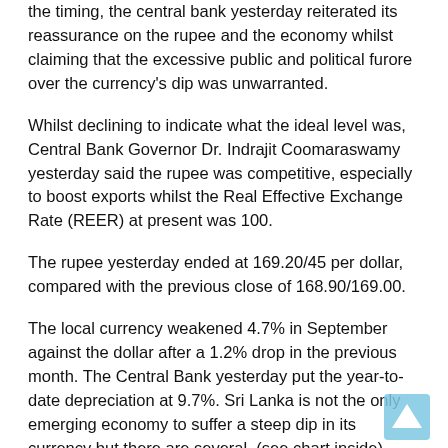the timing, the central bank yesterday reiterated its reassurance on the rupee and the economy whilst claiming that the excessive public and political furore over the currency's dip was unwarranted.
Whilst declining to indicate what the ideal level was, Central Bank Governor Dr. Indrajit Coomaraswamy yesterday said the rupee was competitive, especially to boost exports whilst the Real Effective Exchange Rate (REER) at present was 100.
The rupee yesterday ended at 169.20/45 per dollar, compared with the previous close of 168.90/169.00.
The local currency weakened 4.7% in September against the dollar after a 1.2% drop in the previous month. The Central Bank yesterday put the year-to-date depreciation at 9.7%. Sri Lanka is not the only emerging economy to suffer a steep dip in its currency but there are several. (see chart inside).